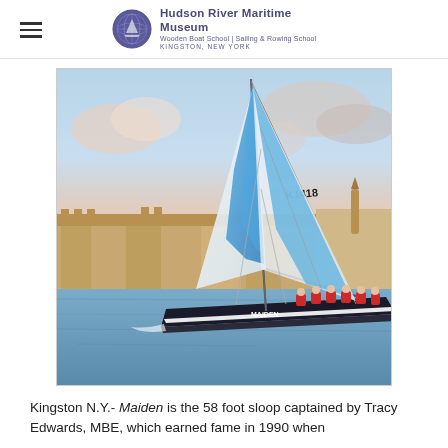Hudson River Maritime Museum | Wooden Boat School | Sailing & Rowing School | KINGSTON, NEW YORK
[Figure (photo): A racing sailboat named Maiden with blue sails marked K1418, sailing in a harbor with a historic stone fortress in the background, crew in red jackets on deck, at sunset.]
Kingston N.Y.- Maiden is the 58 foot sloop captained by Tracy Edwards, MBE, which earned fame in 1990 when